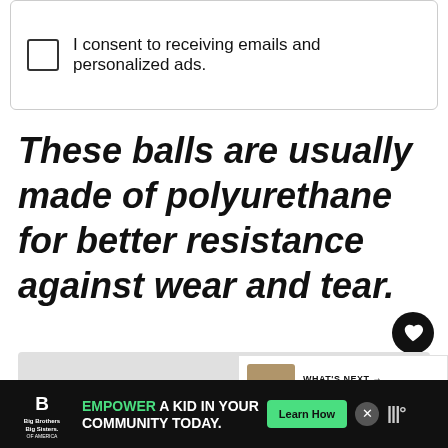I consent to receiving emails and personalized ads.
These balls are usually made of polyurethane for better resistance against wear and tear.
[Figure (other): Gray image placeholder area with heart (like/favorite) button and share button overlaid on right side]
WHAT'S NEXT → Most Durable Soccer Balls...
EMPOWER A KID IN YOUR COMMUNITY TODAY. Learn How — Big Brothers Big Sisters of America advertisement